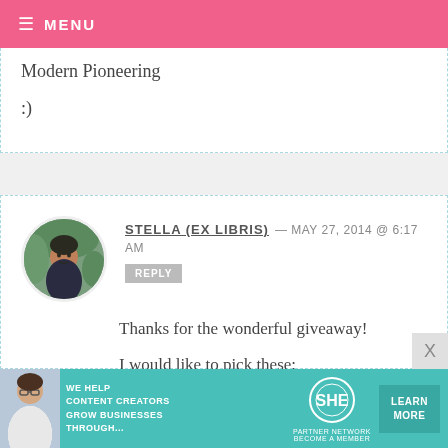MENU
Modern Pioneering
:)
STELLA (EX LIBRIS) — MAY 27, 2014 @ 6:17 AM
REPLY
Thanks for the wonderful giveaway!
I would like to pick these:
Sweet Paul Eat and Make
The B.T.C. Old-Fashioned Grocery
[Figure (other): Ad banner: SHE Media Partner Network — We help content creators grow businesses through... Learn More]